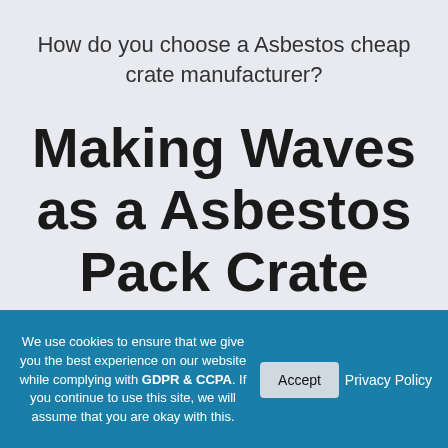How do you choose a Asbestos cheap crate manufacturer?
Making Waves as a Asbestos Pack Crate Maker
What to Consider when
We use cookies to ensure that we give you the best experience on our website while complying with GDPR & CCPA. If you continue to use this site, we will assume that you are okay with this.